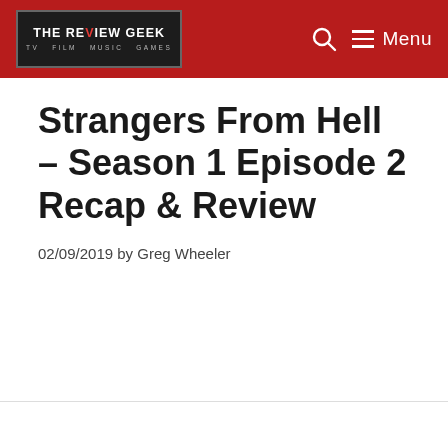THE REVIEW GEEK — TV FILM MUSIC GAMES | Menu
Strangers From Hell – Season 1 Episode 2 Recap & Review
02/09/2019 by Greg Wheeler